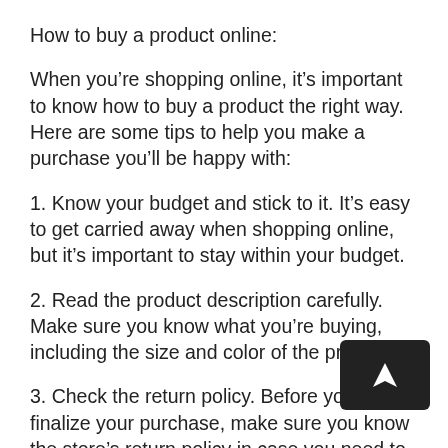How to buy a product online:
When you're shopping online, it's important to know how to buy a product the right way. Here are some tips to help you make a purchase you'll be happy with:
1. Know your budget and stick to it. It's easy to get carried away when shopping online, but it's important to stay within your budget.
2. Read the product description carefully. Make sure you know what you're buying, including the size and color of the product.
3. Check the return policy. Before you finalize your purchase, make sure you know the store's return policy in case you need to return the product later.
4. Compare prices online before buying. It's always a good idea to compare prices online before making a purchase so that you can find the best deal possible.